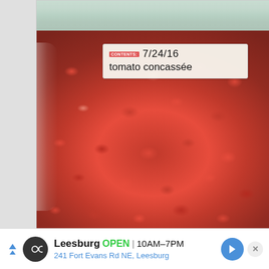[Figure (photo): A zip-lock plastic freezer bag containing diced tomato concassée (chopped red tomatoes without skin/seeds). A white adhesive label on the bag is hand-written with the date '7/24/16' and the contents 'tomato concassée'. The label also has a small red printed badge reading 'CONTENTS:'. The tomatoes appear fresh and red, stored flat inside the clear bag.]
Leesburg  OPEN  10AM–7PM
241 Fort Evans Rd NE, Leesburg